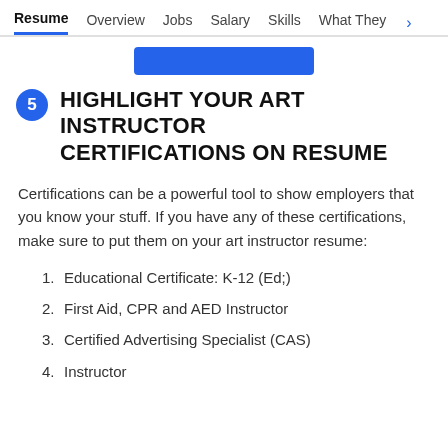Resume  Overview  Jobs  Salary  Skills  What They >
[Figure (other): Blue button bar/banner element]
5  HIGHLIGHT YOUR ART INSTRUCTOR CERTIFICATIONS ON RESUME
Certifications can be a powerful tool to show employers that you know your stuff. If you have any of these certifications, make sure to put them on your art instructor resume:
1. Educational Certificate: K-12 (Ed;)
2. First Aid, CPR and AED Instructor
3. Certified Advertising Specialist (CAS)
4. Instructor